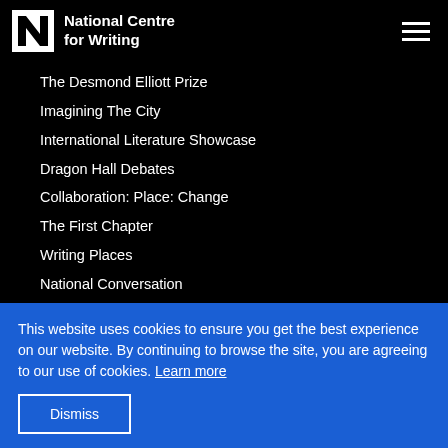National Centre for Writing
The Desmond Elliott Prize
Imagining The City
International Literature Showcase
Dragon Hall Debates
Collaboration: Place: Change
The First Chapter
Writing Places
National Conversation
This website uses cookies to ensure you get the best experience on our website. By continuing to browse the site, you are agreeing to our use of cookies. Learn more
Dismiss